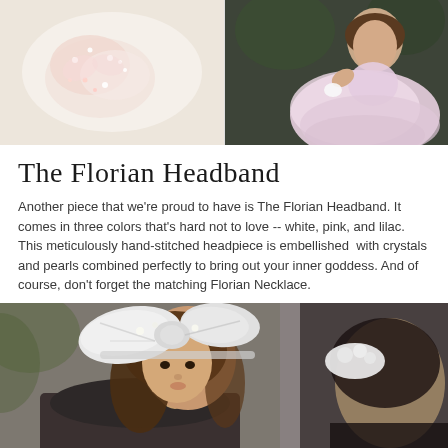[Figure (photo): Close-up photo of a white/pink floral beaded headpiece accessory on a light background]
[Figure (photo): Young girl in a pink tulle dress sitting and posing, holding a white flower accessory]
The Florian Headband
Another piece that we're proud to have is The Florian Headband. It comes in three colors that's hard not to love -- white, pink, and lilac. This meticulously hand-stitched headpiece is embellished  with crystals and pearls combined perfectly to bring out your inner goddess. And of course, don't forget the matching Florian Necklace.
[Figure (photo): Young girl with brown hair wearing a large white bow headband, with another child partially visible wearing a floral headpiece in the background]